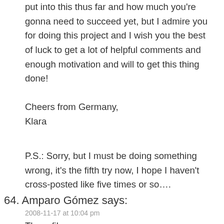put into this thus far and how much you're gonna need to succeed yet, but I admire you for doing this project and I wish you the best of luck to get a lot of helpful comments and enough motivation and will to get this thing done!
Cheers from Germany,
Klara
P.S.: Sorry, but I must be doing something wrong, it's the fifth try now, I hope I haven't cross-posted like five times or so….
64. Amparo Gómez says:
2008-11-17 at 10:04 pm
Three films: